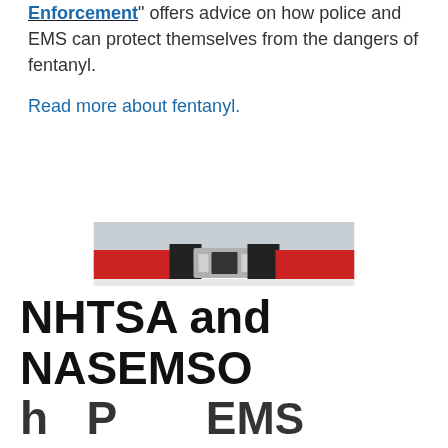Enforcement" offers advice on how police and EMS can protect themselves from the dangers of fentanyl.
Read more about fentanyl.
[Figure (photo): Close-up photo of an emergency vehicle with red and black light bar on white roof, with dark trees visible in background]
NHTSA and NASEMSO